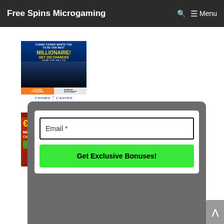Free Spins Microgaming  🔍 ☰ Menu
[Figure (screenshot): Cosmo Casino advertisement banner: 'Cosmo Casino wants you to be our next MILLIONAIRE! GET 150 CHANCES TODAY FOR ONLY €10' with city skyline, click here / download buttons, and Cosmo Casino logo]
[Figure (screenshot): Partial second casino banner showing €5 and MU/DE text in red-orange gradient]
[Figure (screenshot): Popup overlay with email input field labeled 'Email *' and a green 'Get Exclusive Bonuses!' button]